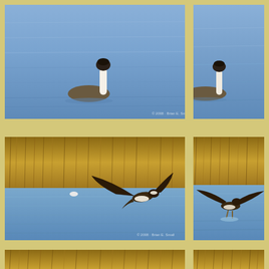[Figure (photo): A grebe bird swimming on blue rippled water, viewed from the side. The bird has a dark cap and white neck, with grayish body floating on calm blue water.]
[Figure (photo): Partial view of a grebe bird swimming on blue water, showing the bird's body from the side, cropped at the right edge.]
[Figure (photo): A large bird (osprey or similar) in flight with wings spread wide over a blue marsh pond, with golden-brown reed grasses in the background. Watermark visible in lower right.]
[Figure (photo): Partial view of a bird landing or taking off over blue water with golden reed grasses in background, cropped at right edge.]
[Figure (photo): Bottom strip showing golden-brown marsh reeds/grasses, partially visible at the bottom of the page.]
[Figure (photo): Bottom right strip showing golden-brown marsh reeds/grasses, partially visible at the bottom of the page.]